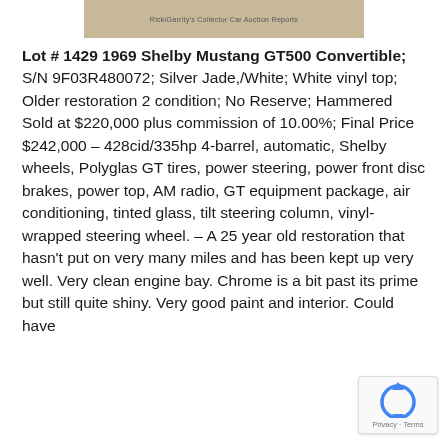[Figure (photo): Cropped top portion of a photograph showing a car, with a watermark text overlay reading 'RickiGarrity's Collector Car Auction Reports']
Lot # 1429 1969 Shelby Mustang GT500 Convertible; S/N 9F03R480072; Silver Jade,/White; White vinyl top; Older restoration 2 condition; No Reserve; Hammered Sold at $220,000 plus commission of 10.00%; Final Price $242,000 – 428cid/335hp 4-barrel, automatic, Shelby wheels, Polyglas GT tires, power steering, power front disc brakes, power top, AM radio, GT equipment package, air conditioning, tinted glass, tilt steering column, vinyl-wrapped steering wheel. – A 25 year old restoration that hasn't put on very many miles and has been kept up very well. Very clean engine bay. Chrome is a bit past its prime but still quite shiny. Very good paint and interior. Could have